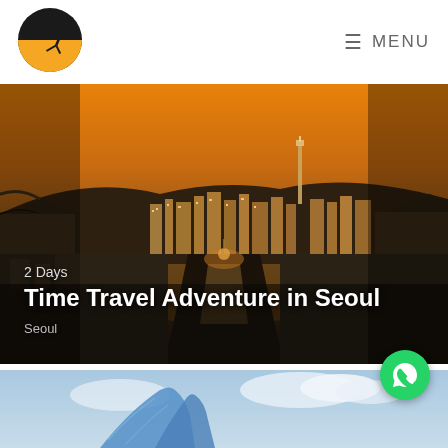[Figure (logo): Adventure travel company logo: black circle with orange lower half, silhouette of a person rock climbing]
≡ MENU
[Figure (photo): Aerial night/dusk view of Seoul's Bukchon Hanok Village traditional Korean alleyway leading toward illuminated modern city skyline with N Seoul Tower visible in background against orange sunset sky]
2 Days
Time Travel Adventure in Seoul
Seoul
[Figure (photo): Partial view of a modern curved glass building with blue sky and clouds, partially visible at the bottom of the page]